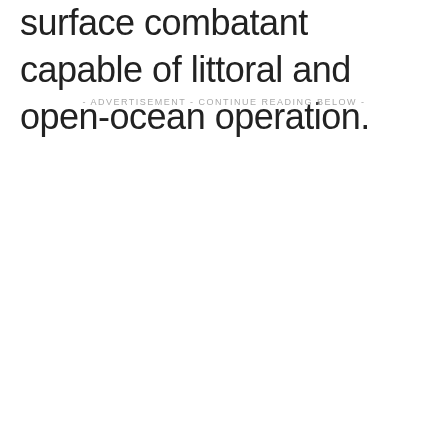surface combatant capable of littoral and open-ocean operation.
- ADVERTISEMENT - CONTINUE READING BELOW -